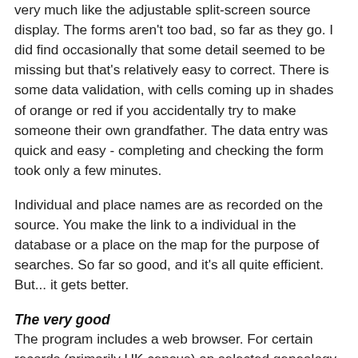very much like the adjustable split-screen source display. The forms aren't too bad, so far as they go. I did find occasionally that some detail seemed to be missing but that's relatively easy to correct. There is some data validation, with cells coming up in shades of orange or red if you accidentally try to make someone their own grandfather. The data entry was quick and easy - completing and checking the form took only a few minutes.
Individual and place names are as recorded on the source. You make the link to a individual in the database or a place on the map for the purpose of searches. So far so good, and it's all quite efficient. But... it gets better.
The very good
The program includes a web browser. For certain records (primarily UK census) on selected genealogy sites you can download the information into the appropriate form at the click of a button, including the source image(s). It takes about 20 seconds and all that's left to do is correct the information against the image (add in any data not in the transcription), and link it up to the right people and places. Even a fairly large household took me less than five minutes